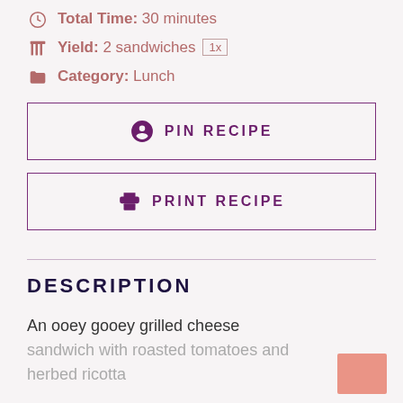Total Time: 30 minutes
Yield: 2 sandwiches 1x
Category: Lunch
PIN RECIPE
PRINT RECIPE
DESCRIPTION
An ooey gooey grilled cheese sandwich with roasted tomatoes and herbed ricotta